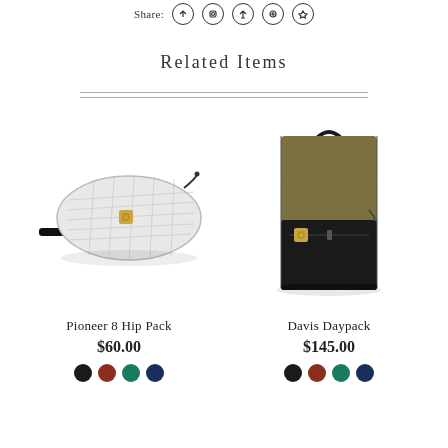Share:
Related Items
[Figure (photo): Pioneer 8 Hip Pack - white quilted fanny pack/hip pack with black strap and gold logo clasp]
Pioneer 8 Hip Pack
$60.00
[Figure (photo): Davis Daypack - olive/khaki green rolltop backpack with black bottom panel and gold logo clasp]
Davis Daypack
$145.00